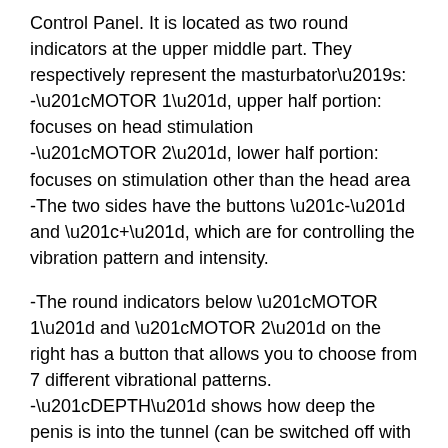Control Panel. It is located as two round indicators at the upper middle part. They respectively represent the masturbator's:
-“MOTOR 1”, upper half portion: focuses on head stimulation
-“MOTOR 2”, lower half portion: focuses on stimulation other than the head area
-The two sides have the buttons “-” and “+”, which are for controlling the vibration pattern and intensity.
-The round indicators below “MOTOR 1” and “MOTOR 2” on the right has a button that allows you to choose from 7 different vibrational patterns.
-“DEPTH” shows how deep the penis is into the tunnel (can be switched off with the button on the right)
-The one at the very bottom is the Start/Pause button, allowing you to take an emergency break when needed.